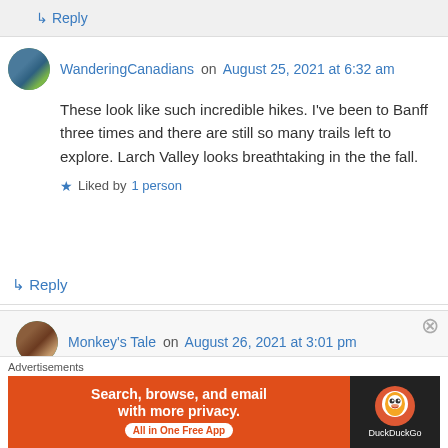↳ Reply
WanderingCanadians on August 25, 2021 at 6:32 am
These look like such incredible hikes. I've been to Banff three times and there are still so many trails left to explore. Larch Valley looks breathtaking in the the fall.
★ Liked by 1 person
↳ Reply
Monkey's Tale on August 26, 2021 at 3:01 pm
Advertisements
[Figure (other): DuckDuckGo advertisement banner: orange section with text 'Search, browse, and email with more privacy. All in One Free App' and dark section with DuckDuckGo logo and name.]